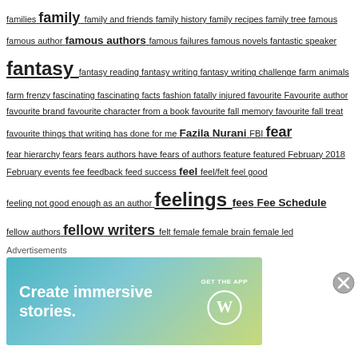families family family and friends family history family recipes family tree famous famous author famous authors famous failures famous novels fantastic speaker fantasy fantasy reading fantasy writing fantasy writing challenge farm animals farm frenzy fascinating fascinating facts fashion fatally injured favourite Favourite author favourite brand favourite character from a book favourite fall memory favourite fall treat favourite things that writing has done for me Fazila Nurani FBI fear fear hierarchy fears fears authors have fears of authors feature featured February 2018 February events fee feedback feed success feel feel/felt feel good feeling not good enough as an author feelings fees Fee Schedule fellow authors fellow writers felt female female brain female led female owner female publisher females festivals and events fiction fiction earning fiction novel fifteen books in 15 days fight fighting for freedom and literacy fight me figure it out fiji filler words filling up fast fill in the blanks fill the time available fill your reader's needs film filmmaker final clue finally decided to share finally here finance financing find another way to express the same thing find clients and writing projects finding events near you find out what happened to her find the
Advertisements
[Figure (other): WordPress advertisement banner with gradient background (teal to yellow-green). Text reads 'Create immersive stories.' with a 'GET THE APP' call-to-action button and WordPress logo.]